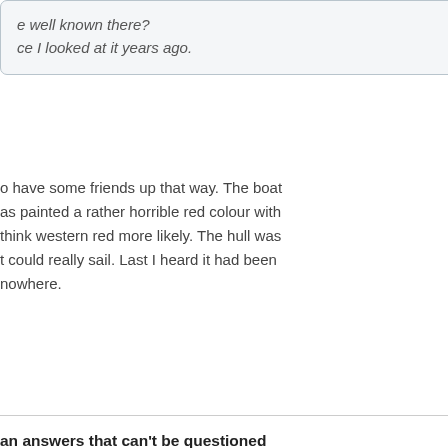e well known there?
ce I looked at it years ago.
o have some friends up that way. The boat as painted a rather horrible red colour with think western red more likely. The hull was t could really sail. Last I heard it had been nowhere.
an answers that can't be questioned
Reply With Quote
#47207
| Join Date: | Feb 2002 |
| Location: | Uki, NSW, Australia |
| Posts: | 35,210 |